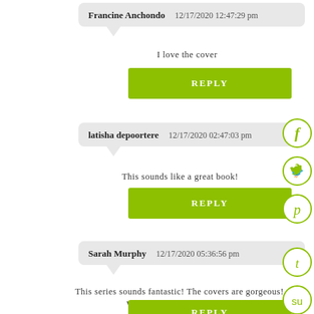Francine Anchondo  12/17/2020 12:47:29 pm
I love the cover
REPLY
latisha depoortere  12/17/2020 02:47:03 pm
This sounds like a great book!
REPLY
Sarah Murphy  12/17/2020 05:36:56 pm
This series sounds fantastic! The covers are gorgeous! What was your inspiration?
REPLY